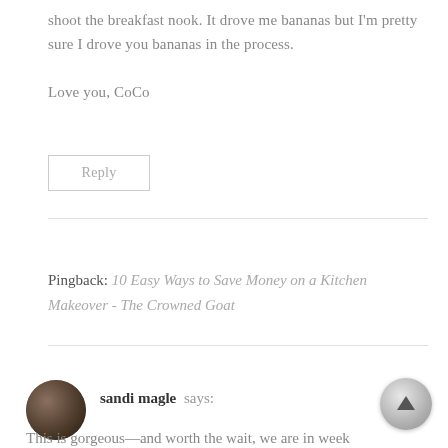shoot the breakfast nook. It drove me bananas but I'm pretty sure I drove you bananas in the process. Love you, CoCo
Reply
Pingback: 10 Easy Ways to Save Money on a Kitchen Makeover - The Crowned Goat
sandi magle says:
This is gorgeous—and worth the wait, we are in week